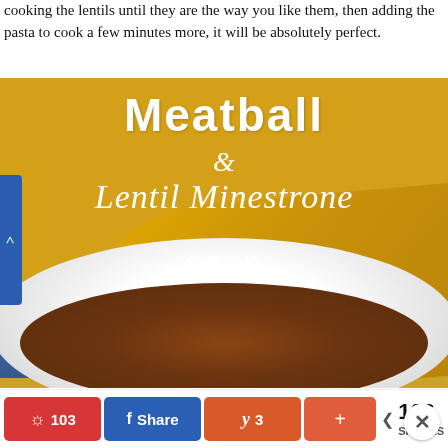cooking the lentils until they are the way you like them, then adding the pasta to cook a few minutes more, it will be absolutely perfect.
[Figure (photo): Food photo of Meatball & Lentil Minestrone soup with white bowl of soup on a golden yellow cloth, with text overlay 'Meatball & Lentil Minestrone soup' in white lettering]
Advertisements
103
3
106 SHARES